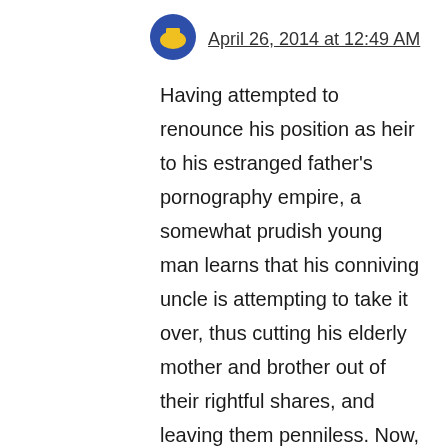[Figure (logo): Circular avatar icon with blue background and yellow stylized symbol]
April 26, 2014 at 12:49 AM
Having attempted to renounce his position as heir to his estranged father’s pornography empire, a somewhat prudish young man learns that his conniving uncle is attempting to take it over, thus cutting his elderly mother and brother out of their rightful shares, and leaving them penniless. Now, in order to keep it from his uncle’s greedy hands, he must, as leader, maintain the spirit of the business as well as bring new ideas and development to it.
Reply